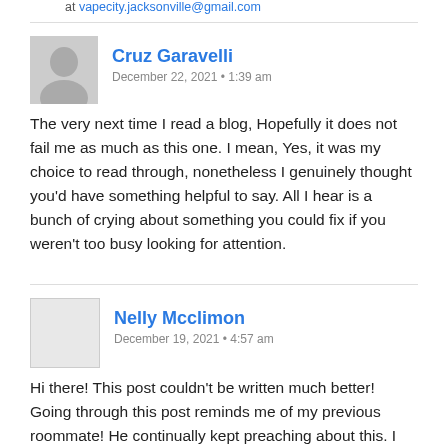at vapecity.jacksonville@gmail.com
Cruz Garavelli
December 22, 2021 • 1:39 am
The very next time I read a blog, Hopefully it does not fail me as much as this one. I mean, Yes, it was my choice to read through, nonetheless I genuinely thought you'd have something helpful to say. All I hear is a bunch of crying about something you could fix if you weren't too busy looking for attention.
Nelly Mcclimon
December 19, 2021 • 4:57 am
Hi there! This post couldn't be written much better! Going through this post reminds me of my previous roommate! He continually kept preaching about this. I will forward this information to him. Fairly certain he will have a very good read. Thank you for sharing!